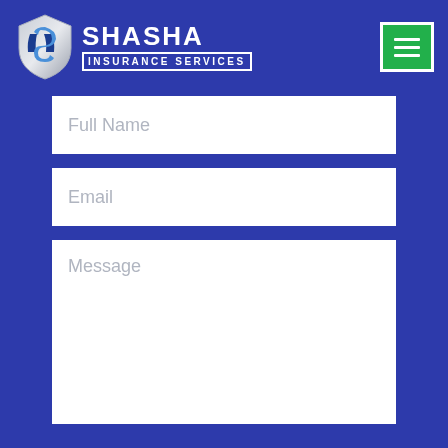[Figure (logo): Shasha Insurance Services logo: shield icon with blue and white S design, text SHASHA INSURANCE SERVICES]
[Figure (other): Green hamburger menu button with three white horizontal lines and white border]
Full Name
Email
Message
SEND NOW!